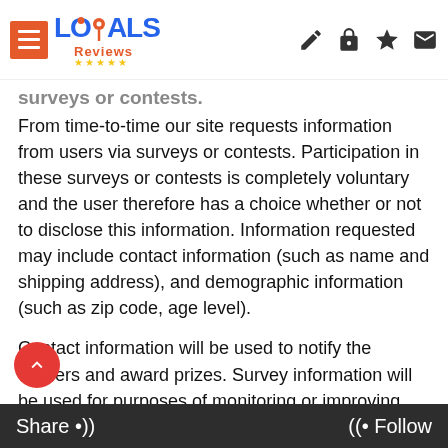[Figure (logo): Locals Reviews website logo with hamburger menu icon, blue LOCALS text with location pin, orange Reviews text, yellow stars, and header icons (edit, lock, star, mail)]
surveys or contests.
From time-to-time our site requests information from users via surveys or contests. Participation in these surveys or contests is completely voluntary and the user therefore has a choice whether or not to disclose this information. Information requested may include contact information (such as name and shipping address), and demographic information (such as zip code, age level).
Contact information will be used to notify the winners and award prizes. Survey information will be used for purposes of monitoring or improving the use and satisfaction of this site. The individual or business data that we collect from our users is never made available to third
[Figure (other): Red circular back-to-top button with white upward chevron arrow]
Share •)) (( • Follow